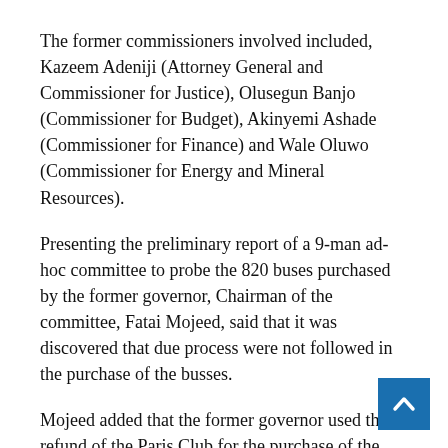The former commissioners involved included, Kazeem Adeniji (Attorney General and Commissioner for Justice), Olusegun Banjo (Commissioner for Budget), Akinyemi Ashade (Commissioner for Finance) and Wale Oluwo (Commissioner for Energy and Mineral Resources).
Presenting the preliminary report of a 9-man ad-hoc committee to probe the 820 buses purchased by the former governor, Chairman of the committee, Fatai Mojeed, said that it was discovered that due process were not followed in the purchase of the busses.
Mojeed added that the former governor used the refund of the Paris Club for the purchase of the busses without the approval of the House. “He did not inform the House before commencing the purchase of the buses.
“Over N48 billion was spent for the purchase of the busses. N22 Billion were spent on import duties. 520 of the buses are still at the seaport,” Mojeed said.